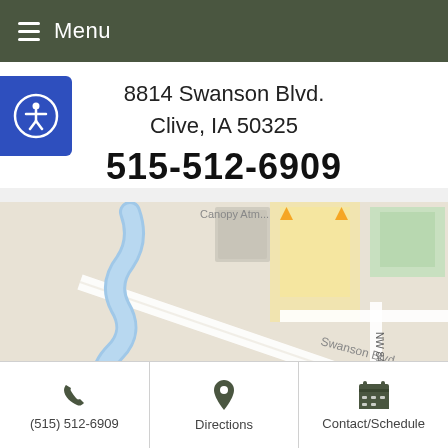Menu
8814 Swanson Blvd.
Clive, IA 50325
515-512-6909
[Figure (map): Google Maps view showing 8814 Swanson Blvd, Clive, IA. Map shows Swanson Blvd road, Harbach Blvd, Clark St, NW 84th St, University Ave, and a blue location pin labeled Mobile Spot. A winding blue river/creek visible on left side.]
(515) 512-6909
Directions
Contact/Schedule